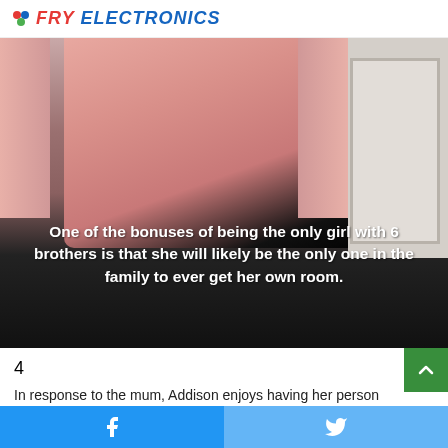FRY ELECTRONICS
[Figure (photo): Photo of a person wearing a pink shirt with a unicorn graphic, standing near a white door. Overlaid white bold text reads: 'One of the bonuses of being the only girl with 6 brothers is that she will likely be the only one in the family to ever get her own room.']
4
In response to the mum, Addison enjoys having her person
Facebook share | Twitter share